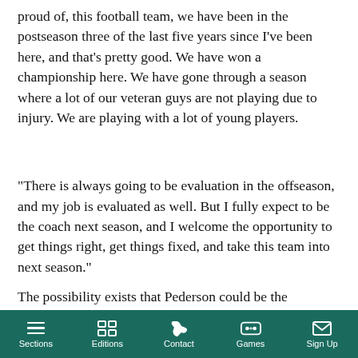proud of, this football team, we have been in the postseason three of the last five years since I've been here, and that's pretty good. We have won a championship here. We have gone through a season where a lot of our veteran guys are not playing due to injury. We are playing with a lot of young players.
“There is always going to be evaluation in the offseason, and my job is evaluated as well. But I fully expect to be the coach next season, and I welcome the opportunity to get things right, get things fixed, and take this team into next season.”
The possibility exists that Pederson could be the scapegoat of general manager Howie Roseman’s inability to find the right talent to maintain the Eagles’ level of success stemming from 2017-2018
Sections  Editions  Contact  Games  Sign Up